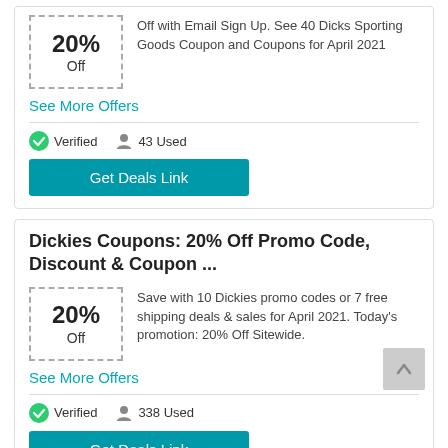[Figure (other): Coupon box showing 20% Off with dashed border]
Off with Email Sign Up. See 40 Dicks Sporting Goods Coupon and Coupons for April 2021
See More Offers
Verified   43 Used
Get Deals Link
Dickies Coupons: 20% Off Promo Code, Discount & Coupon ...
[Figure (other): Coupon box showing 20% Off with dashed border]
Save with 10 Dickies promo codes or 7 free shipping deals & sales for April 2021. Today's promotion: 20% Off Sitewide.
See More Offers
Verified   338 Used
Get Deals Link